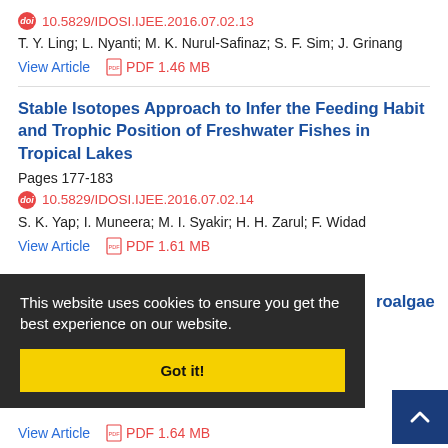10.5829/IDOSI.IJEE.2016.07.02.13
T. Y. Ling; L. Nyanti; M. K. Nurul-Safinaz; S. F. Sim; J. Grinang
View Article   PDF 1.46 MB
Stable Isotopes Approach to Infer the Feeding Habit and Trophic Position of Freshwater Fishes in Tropical Lakes
Pages 177-183
10.5829/IDOSI.IJEE.2016.07.02.14
S. K. Yap; I. Muneera; M. I. Syakir; H. H. Zarul; F. Widad
View Article   PDF 1.61 MB
roalgae
This website uses cookies to ensure you get the best experience on our website.
Got it!
View Article   PDF 1.64 MB